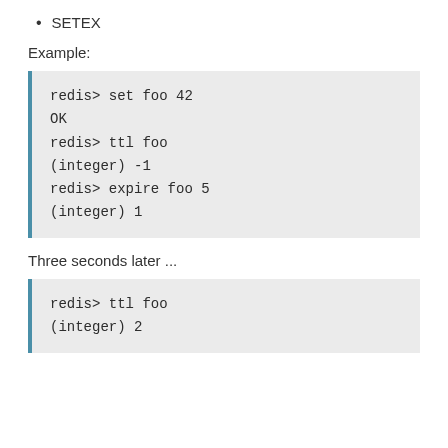SETEX
Example:
redis> set foo 42
OK
redis> ttl foo
(integer) -1
redis> expire foo 5
(integer) 1
Three seconds later ...
redis> ttl foo
(integer) 2